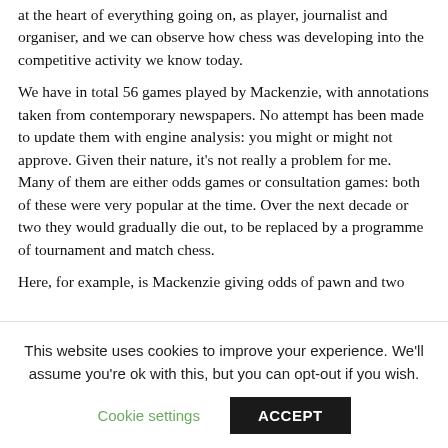at the heart of everything going on, as player, journalist and organiser, and we can observe how chess was developing into the competitive activity we know today.
We have in total 56 games played by Mackenzie, with annotations taken from contemporary newspapers. No attempt has been made to update them with engine analysis: you might or might not approve. Given their nature, it’s not really a problem for me. Many of them are either odds games or consultation games: both of these were very popular at the time. Over the next decade or two they would gradually die out, to be replaced by a programme of tournament and match chess.
Here, for example, is Mackenzie giving odds of pawn and two
This website uses cookies to improve your experience. We’ll assume you’re ok with this, but you can opt-out if you wish.